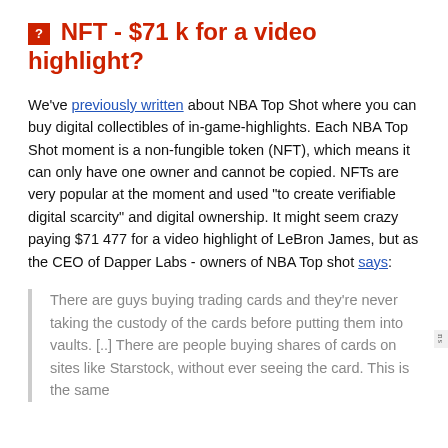🔲 NFT - $71 k for a video highlight?
We've previously written about NBA Top Shot where you can buy digital collectibles of in-game-highlights. Each NBA Top Shot moment is a non-fungible token (NFT), which means it can only have one owner and cannot be copied. NFTs are very popular at the moment and used “to create verifiable digital scarcity” and digital ownership. It might seem crazy paying $71 477 for a video highlight of LeBron James, but as the CEO of Dapper Labs - owners of NBA Top shot says:
There are guys buying trading cards and they’re never taking the custody of the cards before putting them into vaults. [..] There are people buying shares of cards on sites like Starstock, without ever seeing the card. This is the same